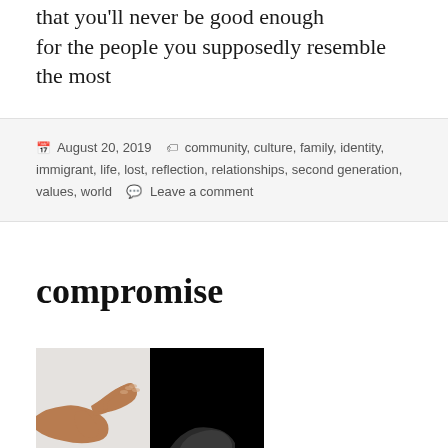that you'll never be good enough for the people you supposedly resemble the most
August 20, 2019  community, culture, family, identity, immigrant, life, lost, reflection, relationships, second generation, values, world  Leave a comment
compromise
[Figure (photo): Two-panel photo: left panel shows a brown-skinned hand reaching out against a white/grey background; right panel is mostly black with a hand visible at the bottom edge.]